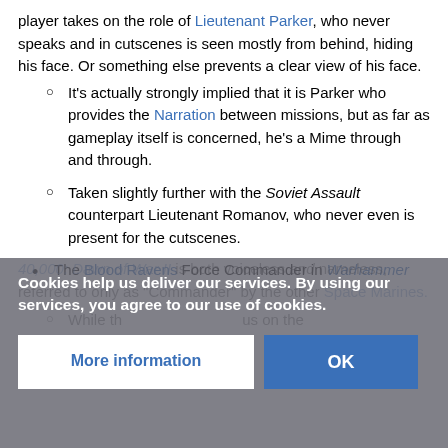player takes on the role of Lieutenant Parker, who never speaks and in cutscenes is seen mostly from behind, hiding his face. Or something else prevents a clear view of his face.
It's actually strongly implied that it is Parker who provides the Narration between missions, but as far as gameplay itself is concerned, he's a Mime through and through.
Taken slightly further with the Soviet Assault counterpart Lieutenant Romanov, who never even is present for the cutscenes.
The Blood Ravens Force Commander in Warhammer 40,000: Dawn of War II is both voiceless and nameless, referred to only as "Commander" by the other Space Marines.
While th... us on the
Cookies help us deliver our services. By using our services, you agree to our use of cookies.